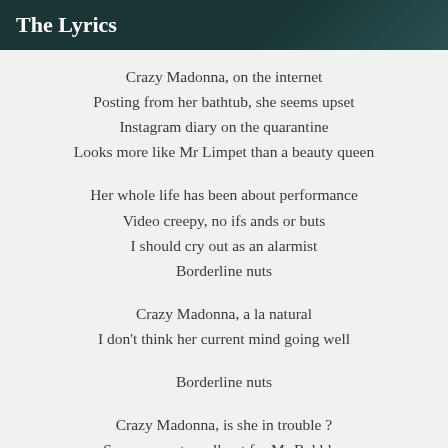The Lyrics
Crazy Madonna, on the internet
Posting from her bathtub, she seems upset
Instagram diary on the quarantine
Looks more like Mr Limpet than a beauty queen

Her whole life has been about performance
Video creepy, no ifs ands or buts
I should cry out as an alarmist
Borderline nuts

Crazy Madonna, a la natural
I don't think her current mind going well

Borderline nuts

Crazy Madonna, is she in trouble ?
Someone put a call out for Mr Bubbles